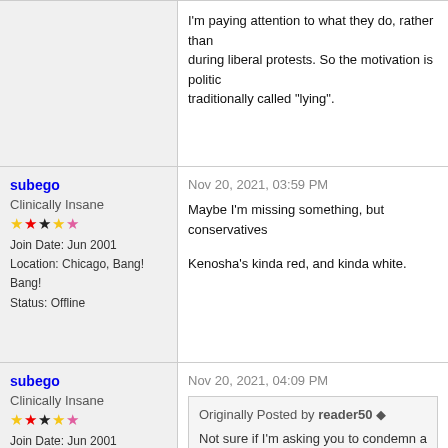I'm paying attention to what they do, rather than during liberal protests. So the motivation is politic traditionally called "lying".
subego
Clinically Insane
Join Date: Jun 2001
Location: Chicago, Bang! Bang!
Status: Offline
Nov 20, 2021, 03:59 PM
Maybe I'm missing something, but conservatives
Kenosha's kinda red, and kinda white.
subego
Clinically Insane
Join Date: Jun 2001
Location: Chicago, Bang! Bang!
Status: Offline
Nov 20, 2021, 04:09 PM
Originally Posted by reader50
Not sure if I'm asking you to condemn a sw opinions.
I assume you consider your own opinion to be co